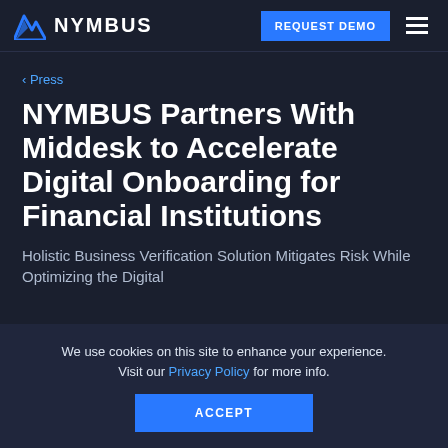NYMBUS | REQUEST DEMO
‹ Press
NYMBUS Partners With Middesk to Accelerate Digital Onboarding for Financial Institutions
Holistic Business Verification Solution Mitigates Risk While Optimizing the Digital
We use cookies on this site to enhance your experience. Visit our Privacy Policy for more info.
ACCEPT